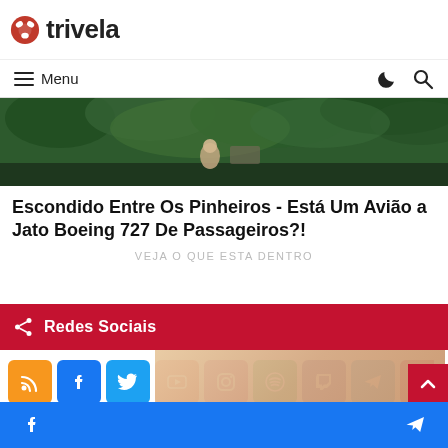trivela
≡ Menu
[Figure (photo): Aerial or outdoor photo showing pine trees and a person, related to a Boeing 727 hidden among pines story]
Escondido Entre Os Pinheiros - Está Um Avião a Jato Boeing 727 De Passageiros?!
VEJA O QUE ESTA DENTRO
Redes Sociais
[Figure (infographic): Row of social media icon buttons: RSS (orange), Facebook (blue), Twitter (light blue), YouTube (red), Instagram (pink/purple), Spotify (green), Twitch (purple), Telegram (blue), and an additional icon (pink/red). Below is a bottom bar with Facebook and Telegram icons and a beige image in the center.]